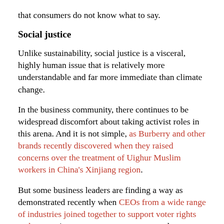that consumers do not know what to say.
Social justice
Unlike sustainability, social justice is a visceral, highly human issue that is relatively more understandable and far more immediate than climate change.
In the business community, there continues to be widespread discomfort about taking activist roles in this arena. And it is not simple, as Burberry and other brands recently discovered when they raised concerns over the treatment of Uighur Muslim workers in China's Xinjiang region.
But some business leaders are finding a way as demonstrated recently when CEOs from a wide range of industries joined together to support voter rights and access, in response to consumers, employees, shareholders and activists.
But if the history of sustainability is the benchmark...